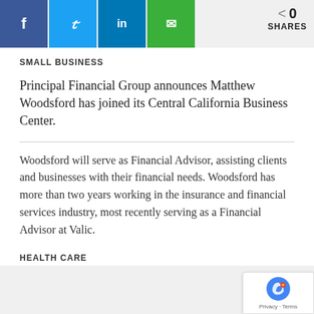[Figure (infographic): Social sharing bar with Facebook (blue), Twitter (light blue), LinkedIn (dark blue), Email (green) icon buttons, and a share count showing 0 SHARES]
SMALL BUSINESS
Principal Financial Group announces Matthew Woodsford has joined its Central California Business Center.
Woodsford will serve as Financial Advisor, assisting clients and businesses with their financial needs. Woodsford has more than two years working in the insurance and financial services industry, most recently serving as a Financial Advisor at Valic.
HEALTH CARE